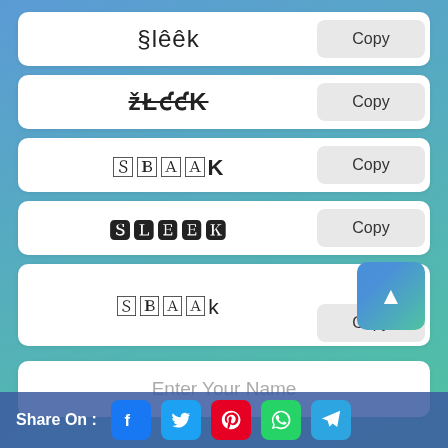§lêêk
ȤłɆɆK
🅂🄻🄴🄴K
🆂🅻🅴🅴🅺
🅂🄻🄴🄴k
Enter Your Name
Share On : Facebook Twitter Pinterest WhatsApp Telegram